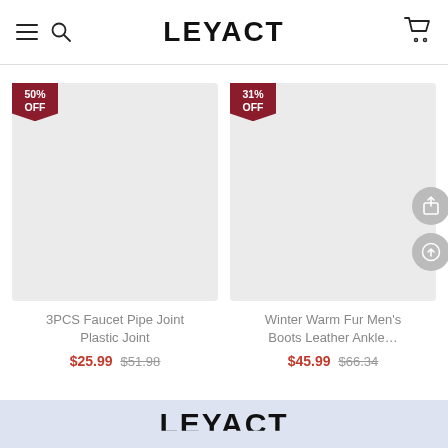LEYACT
[Figure (other): Product image placeholder for 3PCS Faucet Pipe Joint Plastic Joint with 50% OFF badge]
3PCS Faucet Pipe Joint Plastic Joint
$25.99  $51.98
[Figure (other): Product image placeholder for Winter Warm Fur Men's Boots Leather Ankle... with 31% OFF badge and share/upload action buttons]
Winter Warm Fur Men's Boots Leather Ankle...
$45.99  $66.34
LEYACT